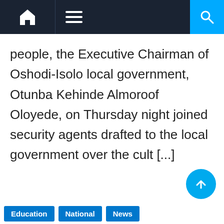Navigation bar with home, menu, and search icons
people, the Executive Chairman of Oshodi-Isolo local government, Otunba Kehinde Almoroof Oloyede, on Thursday night joined security agents drafted to the local government over the cult [...]
Education  National  News